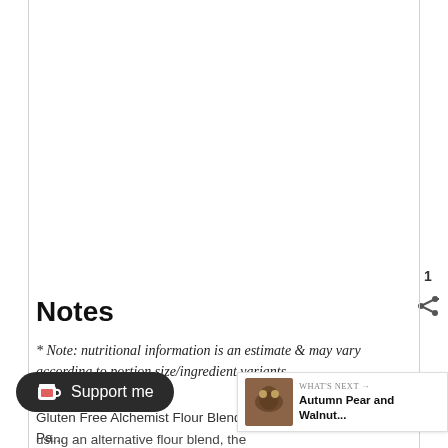Notes
* Note: nutritional information is an estimate & may vary according to portion size/ingredient variants.
Gluten Free Alchemist Flour Blend A can Flour Blending Pa... using an alternative flour blend, the texture may
[Figure (illustration): Dark teal circular like/heart button with heart icon, showing count of 1, and a share icon below]
[Figure (screenshot): Support me button with Ko-fi cup icon in dark rounded pill shape]
[Figure (screenshot): What's Next panel showing thumbnail of Autumn Pear and Walnut recipe]